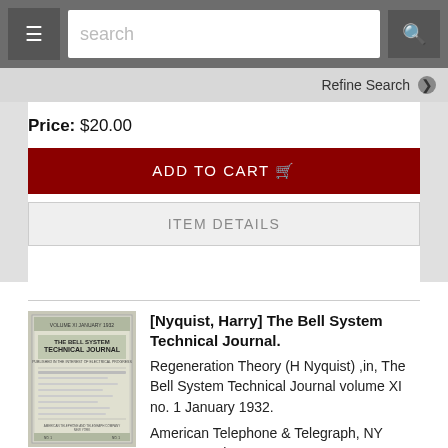[Figure (screenshot): Navigation bar with hamburger menu button, search input field, and search button]
Refine Search ❯
Price: $20.00
ADD TO CART 🛒
ITEM DETAILS
[Figure (photo): Cover of The Bell System Technical Journal]
[Nyquist, Harry] The Bell System Technical Journal.
Regeneration Theory (H Nyquist) ,in, The Bell System Technical Journal volume XI no. 1 January 1932.
American Telephone & Telegraph, NY 1932: complete